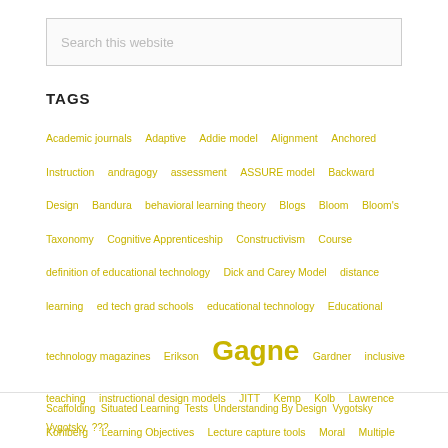[Figure (other): Search box with placeholder text 'Search this website']
TAGS
Academic journals  Adaptive  Addie model  Alignment  Anchored Instruction  andragogy  assessment  ASSURE model  Backward Design  Bandura  behavioral learning theory  Blogs  Bloom  Bloom's Taxonomy  Cognitive Apprenticeship  Constructivism  Course  definition of educational technology  Dick and Carey Model  distance learning  ed tech grad schools  educational technology  Educational technology magazines  Erikson  Gagne  Gardner  inclusive teaching  instructional design models  JITT  Kemp  Kolb  Lawrence Kohlberg  Learning Objectives  Lecture capture tools  Moral  Multiple Choice  Piaget  Problem-Based Learning (PBL)
Scaffolding  Situated Learning  Tests  Understanding By Design  Vygotsky  Vygotsky  ???